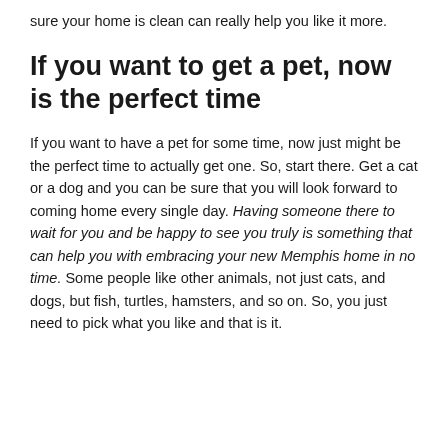sure your home is clean can really help you like it more.
If you want to get a pet, now is the perfect time
If you want to have a pet for some time, now just might be the perfect time to actually get one. So, start there. Get a cat or a dog and you can be sure that you will look forward to coming home every single day. Having someone there to wait for you and be happy to see you truly is something that can help you with embracing your new Memphis home in no time. Some people like other animals, not just cats, and dogs, but fish, turtles, hamsters, and so on. So, you just need to pick what you like and that is it.